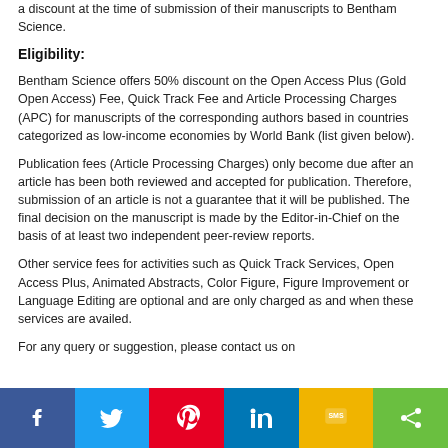a discount at the time of submission of their manuscripts to Bentham Science.
Eligibility:
Bentham Science offers 50% discount on the Open Access Plus (Gold Open Access) Fee, Quick Track Fee and Article Processing Charges (APC) for manuscripts of the corresponding authors based in countries categorized as low-income economies by World Bank (list given below).
Publication fees (Article Processing Charges) only become due after an article has been both reviewed and accepted for publication. Therefore, submission of an article is not a guarantee that it will be published. The final decision on the manuscript is made by the Editor-in-Chief on the basis of at least two independent peer-review reports.
Other service fees for activities such as Quick Track Services, Open Access Plus, Animated Abstracts, Color Figure, Figure Improvement or Language Editing are optional and are only charged as and when these services are availed.
For any query or suggestion, please contact us on